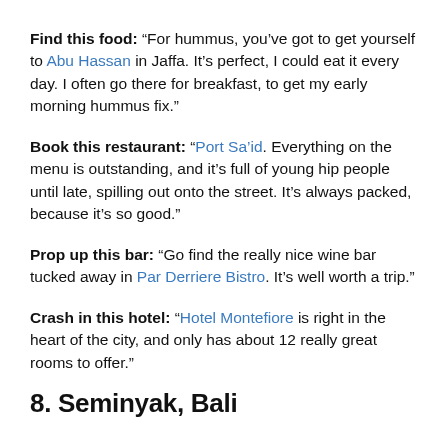Find this food: “For hummus, you’ve got to get yourself to Abu Hassan in Jaffa. It’s perfect, I could eat it every day. I often go there for breakfast, to get my early morning hummus fix.”
Book this restaurant: “Port Sa’id. Everything on the menu is outstanding, and it’s full of young hip people until late, spilling out onto the street. It’s always packed, because it’s so good.”
Prop up this bar: “Go find the really nice wine bar tucked away in Par Derriere Bistro. It’s well worth a trip.”
Crash in this hotel: “Hotel Montefiore is right in the heart of the city, and only has about 12 really great rooms to offer.”
8. Seminyak, Bali